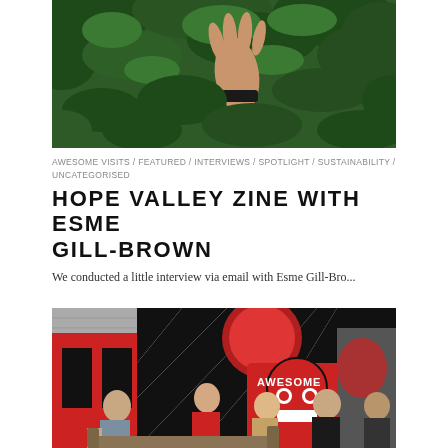[Figure (photo): Hand reaching into green leafy foliage, person wearing a black wristband]
AWESOME VISITS / FEATURED / INTERVIEWS / SPOTLIGHT / SUSTAINABILITY / UNCATEGORISED
HOPE VALLEY ZINE WITH ESME GILL-BROWN
We conducted a little interview via email with Esme Gill-Bro...
[Figure (photo): Interior of a creative space with bold red, black and white mural artwork reading AWESOME, with several women standing and sitting in the space]